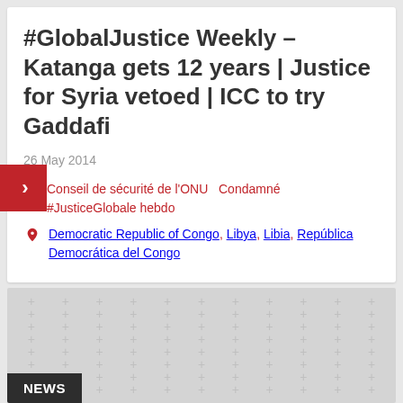#GlobalJustice Weekly – Katanga gets 12 years | Justice for Syria vetoed | ICC to try Gaddafi
26 May 2014
Conseil de sécurité de l'ONU   Condamné   #JusticeGlobale hebdo
Democratic Republic of Congo, Libya, Libia, República Democrática del Congo
[Figure (photo): Gray placeholder image with a repeating plus-sign pattern and a NEWS badge in the bottom-left corner]